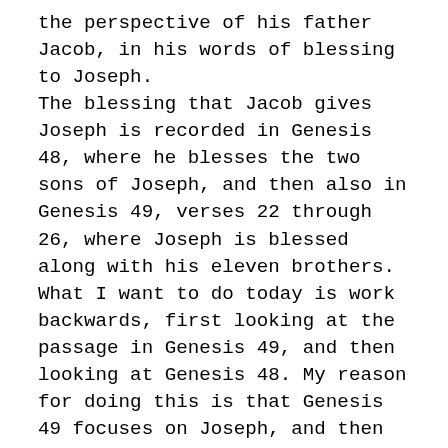the perspective of his father Jacob, in his words of blessing to Joseph. The blessing that Jacob gives Joseph is recorded in Genesis 48, where he blesses the two sons of Joseph, and then also in Genesis 49, verses 22 through 26, where Joseph is blessed along with his eleven brothers. What I want to do today is work backwards, first looking at the passage in Genesis 49, and then looking at Genesis 48. My reason for doing this is that Genesis 49 focuses on Joseph, and then Genesis 48 expands the blessing to his two sons, Manasseh and Ephraim. Now the first thing I want to call your attention to here is the behavior of old man Jacob shortly before his death. He is a godly old man who is sick on his bed and knows that he is soon to die. What does he do? There is something here for us to learn as Christians, both as regards to how we